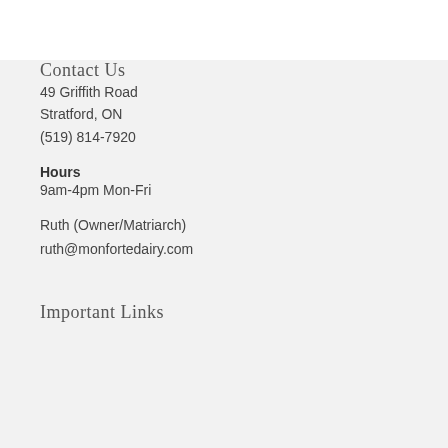Contact Us
49 Griffith Road
Stratford, ON
(519) 814-7920
Hours
9am-4pm Mon-Fri
Ruth (Owner/Matriarch)
ruth@monfortedairy.com
Important Links